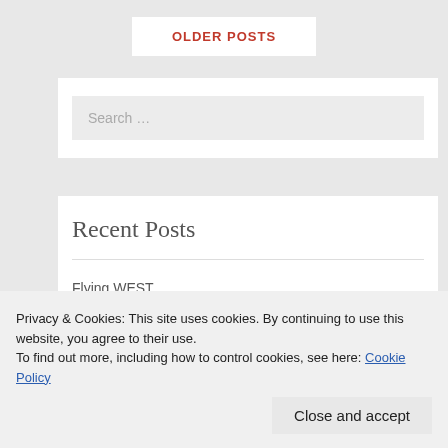OLDER POSTS
Search ...
Recent Posts
Flying WEST
Privacy & Cookies: This site uses cookies. By continuing to use this website, you agree to their use.
To find out more, including how to control cookies, see here: Cookie Policy
Close and accept